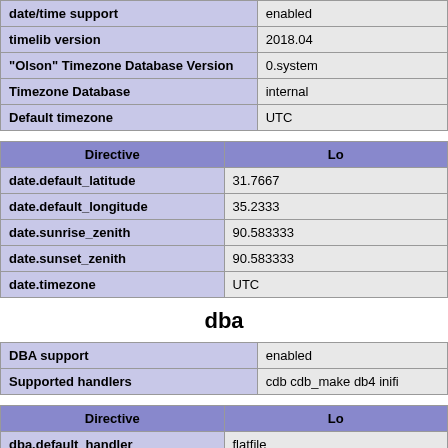| date/time support | enabled |
| timelib version | 2018.04 |
| "Olson" Timezone Database Version | 0.system |
| Timezone Database | internal |
| Default timezone | UTC |
| Directive | Lo |
| --- | --- |
| date.default_latitude | 31.7667 |
| date.default_longitude | 35.2333 |
| date.sunrise_zenith | 90.583333 |
| date.sunset_zenith | 90.583333 |
| date.timezone | UTC |
dba
| DBA support | enabled |
| Supported handlers | cdb cdb_make db4 inifi |
| Directive | Lo |
| --- | --- |
| dba.default_handler | flatfile |